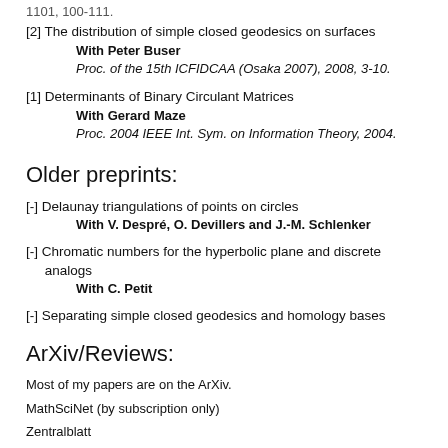[2] The distribution of simple closed geodesics on surfaces
  With Peter Buser
  Proc. of the 15th ICFIDCAA (Osaka 2007), 2008, 3-10.
[1] Determinants of Binary Circulant Matrices
  With Gerard Maze
  Proc. 2004 IEEE Int. Sym. on Information Theory, 2004.
Older preprints:
[-] Delaunay triangulations of points on circles
  With V. Despré, O. Devillers and J.-M. Schlenker
[-] Chromatic numbers for the hyperbolic plane and discrete analogs
  With C. Petit
[-] Separating simple closed geodesics and homology bases
ArXiv/Reviews:
Most of my papers are on the ArXiv.
MathSciNet (by subscription only)
Zentralblatt